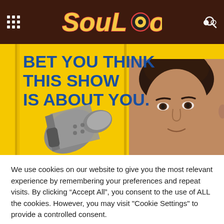SoulBounce
[Figure (photo): Promotional image with yellow background showing text 'BET YOU THINK THIS SHOW IS ABOUT YOU.' with a megaphone and a woman's face on the right]
We use cookies on our website to give you the most relevant experience by remembering your preferences and repeat visits. By clicking “Accept All”, you consent to the use of ALL the cookies. However, you may visit "Cookie Settings" to provide a controlled consent.
Cookie Settings
Accept All